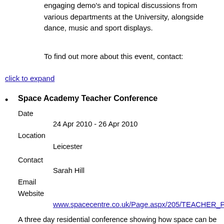engaging demo's and topical discussions from various departments at the University, alongside dance, music and sport displays.
To find out more about this event, contact:
click to expand
Space Academy Teacher Conference
Date: 24 Apr 2010 - 26 Apr 2010
Location: Leicester
Contact: Sarah Hill
Email:
Website: www.spacecentre.co.uk/Page.aspx/205/TEACHER_PRO
A three day residential conference showing how space can be used as a context for curriculum learning in all science subject areas. A mixture of lectures and hands-on workshops plus a chance to visit the